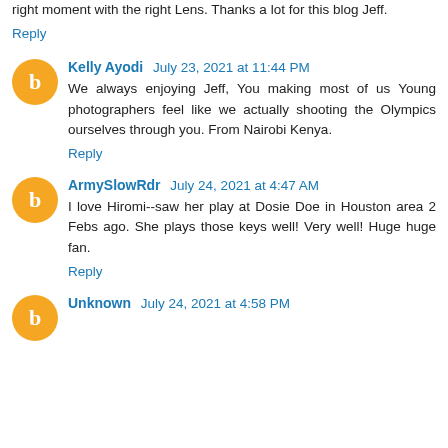right moment with the right Lens. Thanks a lot for this blog Jeff.
Reply
Kelly Ayodi  July 23, 2021 at 11:44 PM
We always enjoying Jeff, You making most of us Young photographers feel like we actually shooting the Olympics ourselves through you. From Nairobi Kenya.
Reply
ArmySlowRdr  July 24, 2021 at 4:47 AM
I love Hiromi--saw her play at Dosie Doe in Houston area 2 Febs ago. She plays those keys well! Very well! Huge huge fan.
Reply
Unknown  July 24, 2021 at 4:58 PM